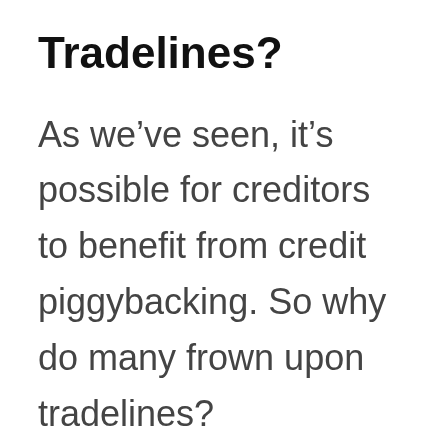Tradelines?
As we’ve seen, it’s possible for creditors to benefit from credit piggybacking. So why do many frown upon tradelines?
For one thing, people who buy tradelines are only looking for a temporary credit boost. They are not creating their credit…